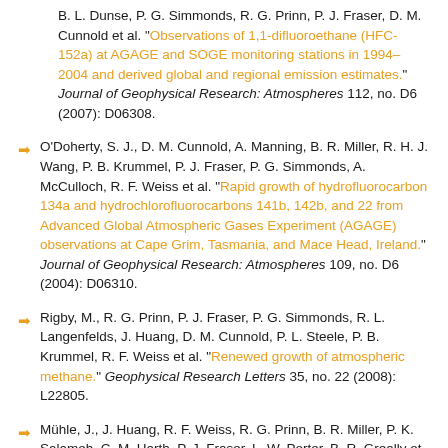B. L. Dunse, P. G. Simmonds, R. G. Prinn, P. J. Fraser, D. M. Cunnold et al. "Observations of 1,1-difluoroethane (HFC-152a) at AGAGE and SOGE monitoring stations in 1994–2004 and derived global and regional emission estimates." Journal of Geophysical Research: Atmospheres 112, no. D6 (2007): D06308.
O'Doherty, S. J., D. M. Cunnold, A. Manning, B. R. Miller, R. H. J. Wang, P. B. Krummel, P. J. Fraser, P. G. Simmonds, A. McCulloch, R. F. Weiss et al. "Rapid growth of hydrofluorocarbon 134a and hydrochlorofluorocarbons 141b, 142b, and 22 from Advanced Global Atmospheric Gases Experiment (AGAGE) observations at Cape Grim, Tasmania, and Mace Head, Ireland." Journal of Geophysical Research: Atmospheres 109, no. D6 (2004): D06310.
Rigby, M., R. G. Prinn, P. J. Fraser, P. G. Simmonds, R. L. Langenfelds, J. Huang, D. M. Cunnold, P. L. Steele, P. B. Krummel, R. F. Weiss et al. "Renewed growth of atmospheric methane." Geophysical Research Letters 35, no. 22 (2008): L22805.
Mühle, J., J. Huang, R. F. Weiss, R. G. Prinn, B. R. Miller, P. K. Salameh, C. M. Harth, P. J. Fraser, L. W. Porter, B. R. Greally et al.